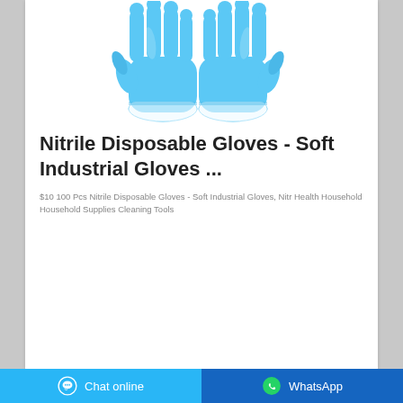[Figure (photo): Two blue nitrile disposable gloves shown side by side on a white background]
Nitrile Disposable Gloves - Soft Industrial Gloves ...
$10 100 Pcs Nitrile Disposable Gloves - Soft Industrial Gloves, Nitr Health Household Household Supplies Cleaning Tools
Chat online   WhatsApp